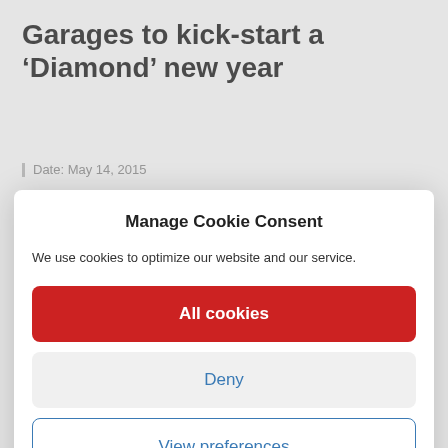Garages to kick-start a ‘Diamond’ new year
| Date: May 14, 2015
[Figure (logo): automotive brand logo with car icon and star/diamond shape]
DENSO Aftermarket is giving UK garages an exciting opportunity in 2015 to...
Manage Cookie Consent
We use cookies to optimize our website and our service.
All cookies
Deny
View preferences